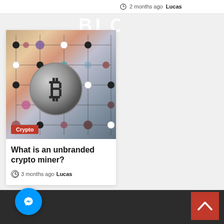2 months ago  Lucas
BLOG
[Figure (photo): A hand holding a Bitcoin coin in front of a Go board game pattern with colorful stones. A red badge reading 'Crypto' is in the bottom-left corner.]
What is an unbranded crypto miner?
3 months ago  Lucas
[Figure (logo): Facebook Messenger circular blue button icon at bottom left]
[Figure (other): Red scroll-to-top button with white chevron/arrow at bottom right]